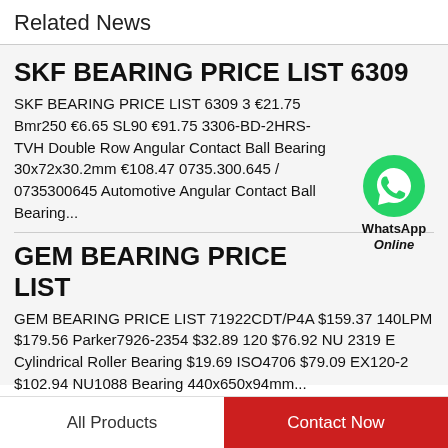Related News
SKF BEARING PRICE LIST 6309
SKF BEARING PRICE LIST 6309 3 ￡21.75 Bmr250 ￡6.65 SL90 ￡91.75 3306-BD-2HRS-TVH Double Row Angular Contact Ball Bearing 30x72x30.2mm ￡108.47 0735.300.645 / 0735300645 Automotive Angular Contact Ball Bearing...
[Figure (logo): WhatsApp Online green chat bubble icon with label 'WhatsApp Online']
GEM BEARING PRICE LIST
GEM BEARING PRICE LIST 71922CDT/P4A $159.37 140LPM $179.56 Parker7926-2354 $32.89 120 $76.92 NU 2319 E Cylindrical Roller Bearing $19.69 ISO4706 $79.09 EX120-2 $102.94 NU1088 Bearing 440x650x94mm...
All Products | Contact Now